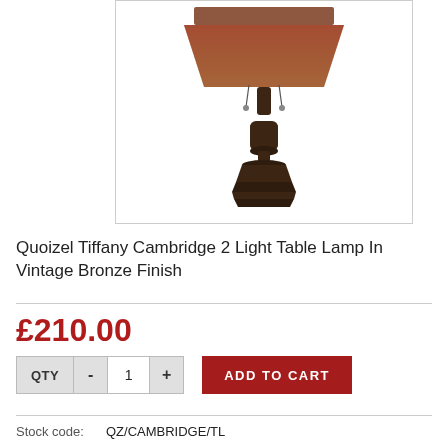[Figure (photo): Quoizel Tiffany Cambridge 2 Light Table Lamp in Vintage Bronze Finish product photo showing the lamp base and shade with pull chains]
Quoizel Tiffany Cambridge 2 Light Table Lamp In Vintage Bronze Finish
£210.00
QTY - 1 + ADD TO CART
Stock code: QZ/CAMBRIDGE/TL